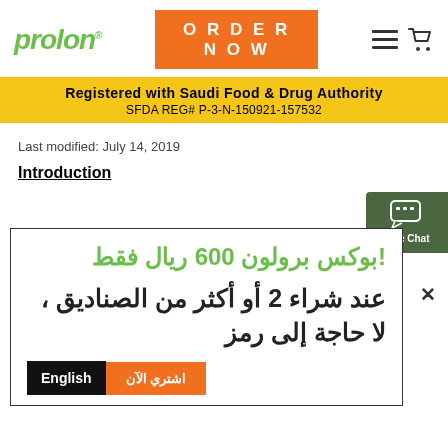prolon® | ORDER NOW | (nav icons)
Registered with Saudi Food & Drug Authority
SFDA REG# P-3-N-150921-157532
Last modified: July 14, 2019
Introduction
!بوكس برولون 600 ريال فقط
عند شراء 2 أو أكثر من الصناديق ، لا حاجة إلى رمز
اشتري الآن | English